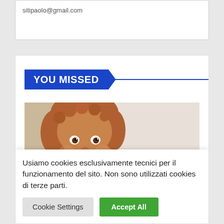sitipaolo@gmail.com
YOU MISSED
[Figure (photo): Photo of a young toddler child with curly reddish-brown hair, looking at the camera, with a white/light background. A blue badge with text 'BENESSERE' overlays the bottom-left of the image.]
Usiamo cookies esclusivamente tecnici per il funzionamento del sito. Non sono utilizzati cookies di terze parti.
Cookie Settings
Accept All